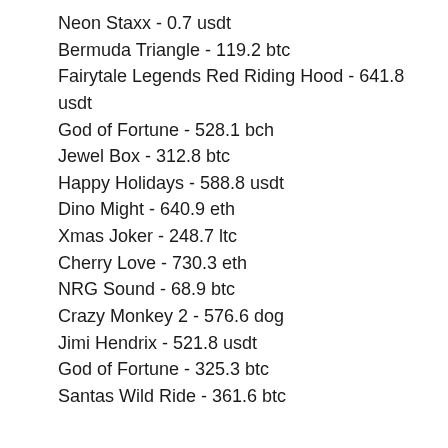Neon Staxx - 0.7 usdt
Bermuda Triangle - 119.2 btc
Fairytale Legends Red Riding Hood - 641.8 usdt
God of Fortune - 528.1 bch
Jewel Box - 312.8 btc
Happy Holidays - 588.8 usdt
Dino Might - 640.9 eth
Xmas Joker - 248.7 ltc
Cherry Love - 730.3 eth
NRG Sound - 68.9 btc
Crazy Monkey 2 - 576.6 dog
Jimi Hendrix - 521.8 usdt
God of Fortune - 325.3 btc
Santas Wild Ride - 361.6 btc
Videoslots, card and board games:
CryptoGames Jungle Monkeys
1xBit Casino Wishing Cup
Mars Casino Boomerang Bonanza